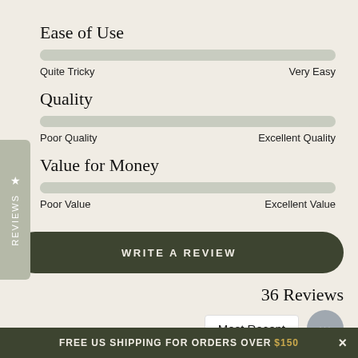Ease of Use
[Figure (other): Horizontal rating bar for Ease of Use, nearly full, muted green-grey color]
Quite Tricky   Very Easy
Quality
[Figure (other): Horizontal rating bar for Quality, nearly full, muted green-grey color]
Poor Quality   Excellent Quality
Value for Money
[Figure (other): Horizontal rating bar for Value for Money, about 85% full, muted green-grey color]
Poor Value   Excellent Value
WRITE A REVIEW
36 Reviews
Most Recent
FREE US SHIPPING FOR ORDERS OVER $150